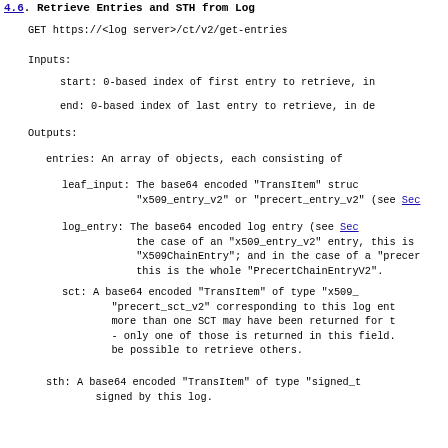4.6. Retrieve Entries and STH from Log
GET https://<log server>/ct/v2/get-entries
Inputs:
start:  0-based index of first entry to retrieve, in
end:  0-based index of last entry to retrieve, in de
Outputs:
entries:  An array of objects, each consisting of
leaf_input:  The base64 encoded "TransItem" struc "x509_entry_v2" or "precert_entry_v2" (see Sec
log_entry:  The base64 encoded log entry (see Sec the case of an "x509_entry_v2" entry, this is "X509ChainEntry"; and in the case of a "precer this is the whole "PrecertChainEntryV2".
sct:  A base64 encoded "TransItem" of type "x509_ "precert_sct_v2" corresponding to this log ent more than one SCT may have been returned for t - only one of those is returned in this field. be possible to retrieve others.
sth:  A base64 encoded "TransItem" of type "signed_t signed by this log.